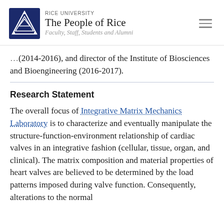RICE UNIVERSITY The People of Rice Faculty, Staff, Students and Alumni
(2014-2016), and director of the Institute of Biosciences and Bioengineering (2016-2017).
Research Statement
The overall focus of Integrative Matrix Mechanics Laboratory is to characterize and eventually manipulate the structure-function-environment relationship of cardiac valves in an integrative fashion (cellular, tissue, organ, and clinical). The matrix composition and material properties of heart valves are believed to be determined by the load patterns imposed during valve function. Consequently, alterations to the normal